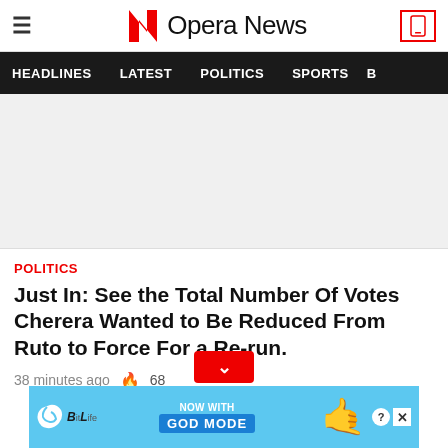Opera News
HEADLINES  LATEST  POLITICS  SPORTS  B
[Figure (other): Advertisement placeholder banner (gray rectangle)]
POLITICS
Just In: See the Total Number Of Votes Cherera Wanted to Be Reduced From Ruto to Force For a Re-run.
38 minutes ago  🔥 68
[Figure (other): BitLife advertisement banner: NOW WITH GOD MODE, with hand graphic and help/close icons]